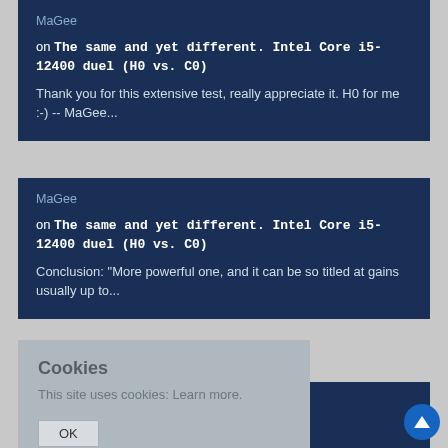MaGee
on The same and yet different. Intel Core i5-12400 duel (H0 vs. C0)
Thank you for this extensive test, really appreciate it. H0 for me :-) -- MaGee...
MaGee
on The same and yet different. Intel Core i5-12400 duel (H0 vs. C0)
Conclusion: "More powerful one, and it can be so titled at gains usually up to...
Cookies
This site uses cookies: Learn more.
OK
ore i5-12400 duel (H0 vs. C0)